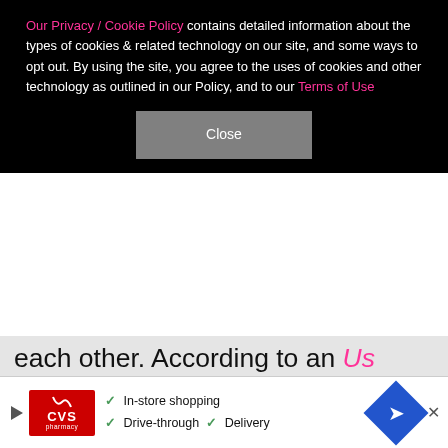Our Privacy / Cookie Policy contains detailed information about the types of cookies & related technology on our site, and some ways to opt out. By using the site, you agree to the uses of cookies and other technology as outlined in our Policy, and to our Terms of Use
Close
each other. According to an Us Weekly source, "It did seem like Bella and The Weeknd were back together. … She was so happy when he arrived and surprised her. The pair were very affectionate with one another, but there was no kissing. However, he did feed Bella a macaroon and the sparks were flying!" (The previous evening, Bella was seen getting into her former love's car after leaving another party in honor of her birthday.) But according to E!'s sources, the pair aren't officially
[Figure (other): CVS Pharmacy advertisement banner showing in-store shopping, drive-through, and delivery options with a navigation/directions icon]